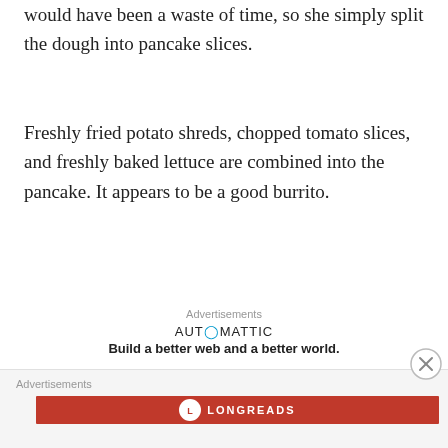would have been a waste of time, so she simply split the dough into pancake slices.
Freshly fried potato shreds, chopped tomato slices, and freshly baked lettuce are combined into the pancake. It appears to be a good burrito.
[Figure (other): Automattic advertisement: AUT◎MATTIC logo and tagline 'Build a better web and a better world.']
“Principal.”
[Figure (other): Longreads advertisement bar in red with Longreads logo icon]
[Figure (other): Close/dismiss button circle with X]